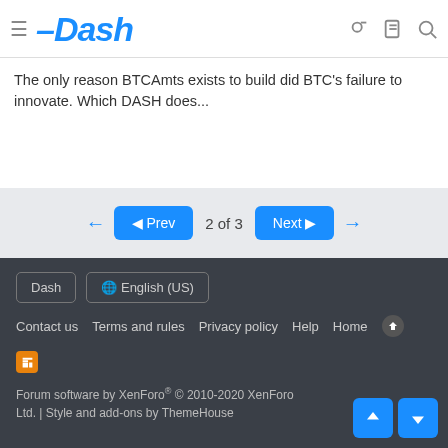Dash
The only reason BTCAmts exists to build did BTC's failure to innovate. Which DASH does...
◄ Prev  2 of 3  Next ►
You must log in or register to reply here.
Share:
Dash  English (US)
Contact us  Terms and rules  Privacy policy  Help  Home
Forum software by XenForo® © 2010-2020 XenForo Ltd. | Style and add-ons by ThemeHouse